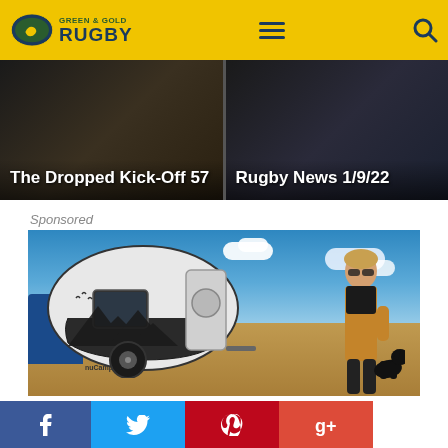[Figure (logo): Green & Gold Rugby logo with oval emblem and text]
[Figure (screenshot): Navigation bar with hamburger menu icon and search icon on yellow background]
[Figure (photo): Card thumbnail - The Dropped Kick-Off 57, dark background]
[Figure (photo): Card thumbnail - Rugby News 1/9/22, dark background]
Sponsored
[Figure (photo): Sponsored advertisement showing a teardrop camping trailer with mountain graphics, a woman in yellow overalls with a black dog, blue sky background with desert landscape]
[Figure (screenshot): Social sharing bar with Facebook, Twitter, Pinterest, and Google+ buttons]